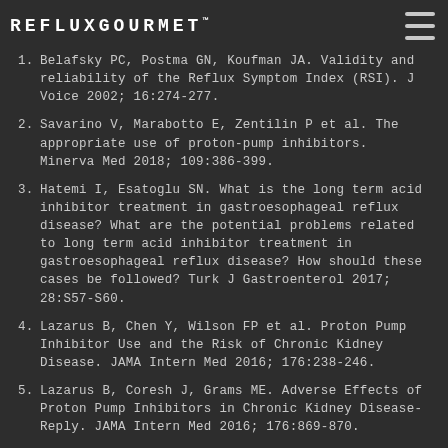REFLUXGOURMET™
1. Belafsky PC, Postma GN, Koufman JA. Validity and reliability of the Reflux Symptom Index (RSI). J Voice 2002; 16:274-277.
2. Savarino V, Marabotto E, Zentilin P et al. The appropriate use of proton-pump inhibitors. Minerva Med 2018; 109:386-399.
3. Hatemi I, Esatoglu SN. What is the long term acid inhibitor treatment in gastroesophageal reflux disease? What are the potential problems related to long term acid inhibitor treatment in gastroesophageal reflux disease? How should these cases be followed? Turk J Gastroenterol 2017; 28:S57-S60.
4. Lazarus B, Chen Y, Wilson FP et al. Proton Pump Inhibitor Use and the Risk of Chronic Kidney Disease. JAMA Intern Med 2016; 176:238-246.
5. Lazarus B, Coresh J, Grams ME. Adverse Effects of Proton Pump Inhibitors in Chronic Kidney Disease-Reply. JAMA Intern Med 2016; 176:869-870.